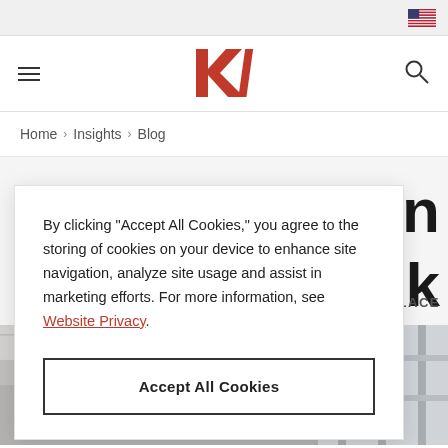KI website header with US flag, hamburger menu, KI logo, and search icon
Home > Insights > Blog
By clicking "Accept All Cookies," you agree to the storing of cookies on your device to enhance site navigation, analyze site usage and assist in marketing efforts. For more information, see Website Privacy.
Accept All Cookies